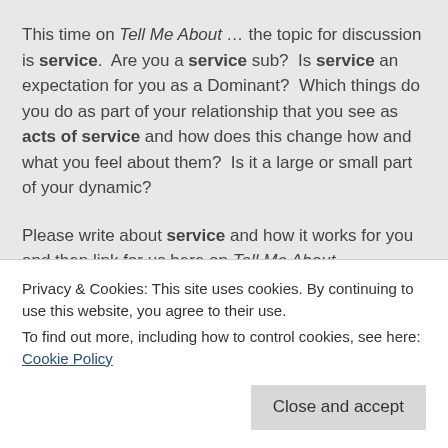This time on Tell Me About … the topic for discussion is service. Are you a service sub? Is service an expectation for you as a Dominant? Which things do you do as part of your relationship that you see as acts of service and how does this change how and what you feel about them? Is it a large or small part of your dynamic?
Please write about service and how it works for you and then link for us here on Tell Me About...
If you are new then please check out the rules and then take part by adding your post using the linky tool at the bottom of the page. Remember to display the Tell Me About ... badge on your post, and please comment on
Privacy & Cookies: This site uses cookies. By continuing to use this website, you agree to their use.
To find out more, including how to control cookies, see here: Cookie Policy